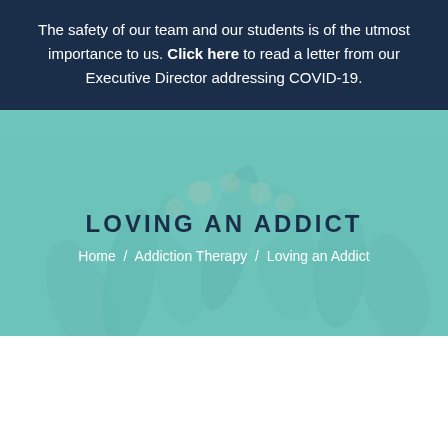The safety of our team and our students is of the utmost importance to us. Click here to read a letter from our Executive Director addressing COVID-19.
[Figure (photo): Group of hands joined together in a circle, viewed from below, with teal overlay. Represents community and support.]
LOVING AN ADDICT
Home / Addiction Therapy / Loving an Addict